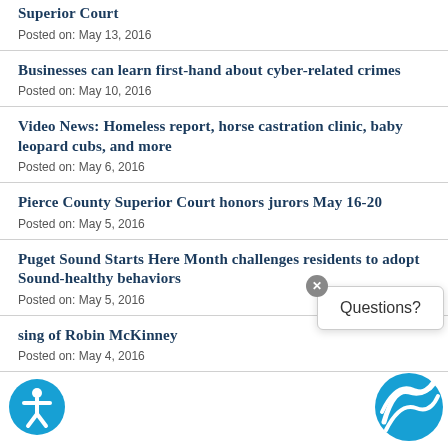Superior Court
Posted on: May 13, 2016
Businesses can learn first-hand about cyber-related crimes
Posted on: May 10, 2016
Video News: Homeless report, horse castration clinic, baby leopard cubs, and more
Posted on: May 6, 2016
Pierce County Superior Court honors jurors May 16-20
Posted on: May 5, 2016
Puget Sound Starts Here Month challenges residents to adopt Sound-healthy behaviors
Posted on: May 5, 2016
…sing of Robin McKinney
Posted on: May 4, 2016